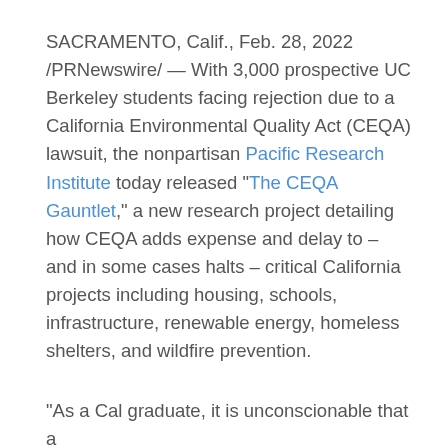SACRAMENTO, Calif., Feb. 28, 2022 /PRNewswire/ — With 3,000 prospective UC Berkeley students facing rejection due to a California Environmental Quality Act (CEQA) lawsuit, the nonpartisan Pacific Research Institute today released "The CEQA Gauntlet," a new research project detailing how CEQA adds expense and delay to – and in some cases halts – critical California projects including housing, schools, infrastructure, renewable energy, homeless shelters, and wildfire prevention.
"As a Cal graduate, it is unconscionable that a